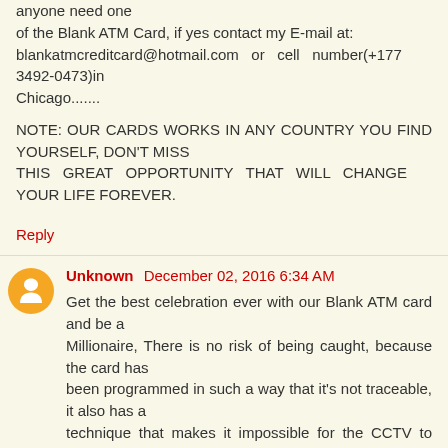anyone need one of the Blank ATM Card, if yes contact my E-mail at: blankatmcreditcard@hotmail.com or cell number(+177 3492-0473)in Chicago.......
NOTE: OUR CARDS WORKS IN ANY COUNTRY YOU FIND YOURSELF, DON'T MISS THIS GREAT OPPORTUNITY THAT WILL CHANGE YOUR LIFE FOREVER.
Reply
Unknown December 02, 2016 6:34 AM
Get the best celebration ever with our Blank ATM card and be a Millionaire, There is no risk of being caught, because the card has been programmed in such a way that it's not traceable, it also has a technique that makes it impossible for the CCTV to detect